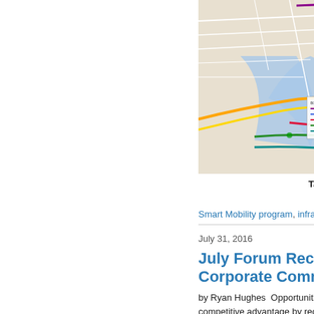[Figure (map): Street map showing transit routes overlaid on NYC/Brooklyn-Queens area with colored lines representing transit corridors]
(BQX). waterfront Queens. Evidence connect instruments improving occupied project magnitude planning features
Tags: ca Smart Mobility program, infrastructure, transit, Transportation
July 31, 2016
July Forum Recap: Tren Corporate Commitments
by Ryan Hughes   Opportunities for competitive advantage by reducing apparent.  The GreenHomeNYC